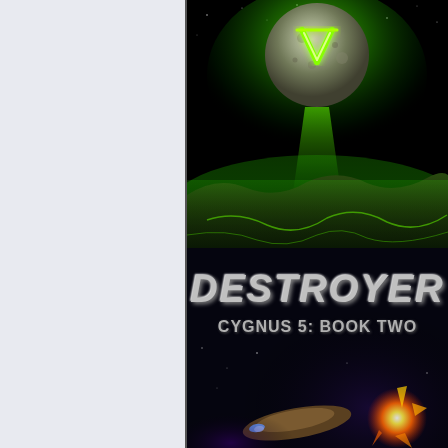[Figure (illustration): Book cover showing two scenes: top half features a dark alien planet landscape with a large moon emitting green light and an alien symbol (glowing green V-shape) against a black sky with green atmospheric effects. Bottom half shows the book title 'DESTROYER' in large bold metallic letters, subtitle 'CYGNUS 5: BOOK TWO', and a space battle scene with spacecraft and explosions.]